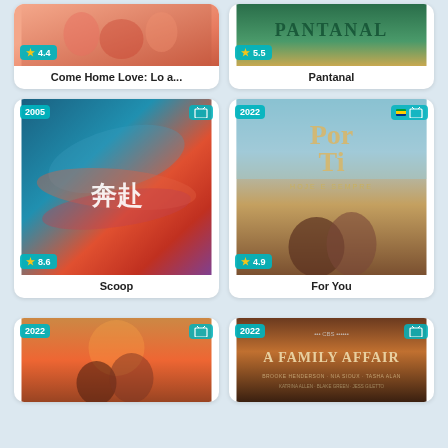[Figure (screenshot): Come Home Love: Lo a... show card with rating 4.4 stars, partial top view]
Come Home Love: Lo a...
[Figure (screenshot): Pantanal show card with rating 5.5 stars, partial top view]
Pantanal
[Figure (screenshot): Scoop show card, year 2005, TV icon, rating 8.6 stars]
Scoop
[Figure (screenshot): For You (Por Ti) show card, year 2022, flag and TV icon, rating 4.9 stars]
For You
[Figure (screenshot): Bottom-left show card, year 2022, TV icon, partial view]
[Figure (screenshot): A Family Affair show card, year 2022, TV icon, partial view]